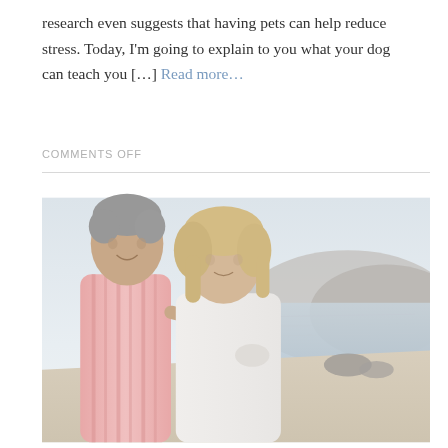research even suggests that having pets can help reduce stress. Today, I'm going to explain to you what your dog can teach you […] Read more…
COMMENTS OFF
[Figure (photo): An older couple standing together on a beach. The man is wearing a pink striped shirt and the woman is wearing a white jacket. They are smiling and looking off into the distance. Rocky hills and ocean visible in the background.]